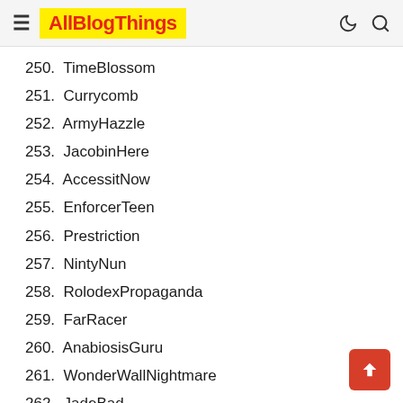AllBlogThings
250. TimeBlossom
251. Currycomb
252. ArmyHazzle
253. JacobinHere
254. AccessitNow
255. EnforcerTeen
256. Prestriction
257. NintyNun
258. RolodexPropaganda
259. FarRacer
260. AnabiosisGuru
261. WonderWallNightmare
262. JadeBad
263. PrincessZenith